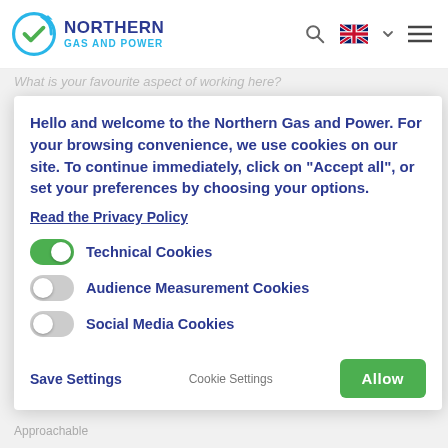[Figure (logo): Northern Gas and Power logo with circular blue/green checkmark icon and company name]
What is your favourite aspect of working here?
I enjoy... very ... favourite ... although the ... year. It hasn't ... Everyone shar... each other as... making NGP ...
[Figure (screenshot): Cookie consent modal overlay with toggle switches for Technical Cookies (on), Audience Measurement Cookies (off), Social Media Cookies (off), Save Settings button, Cookie Settings link, and Allow All button]
What is one w... describe you?
Approachable